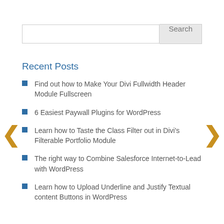Search
Recent Posts
Find out how to Make Your Divi Fullwidth Header Module Fullscreen
6 Easiest Paywall Plugins for WordPress
Learn how to Taste the Class Filter out in Divi's Filterable Portfolio Module
The right way to Combine Salesforce Internet-to-Lead with WordPress
Learn how to Upload Underline and Justify Textual content Buttons in WordPress